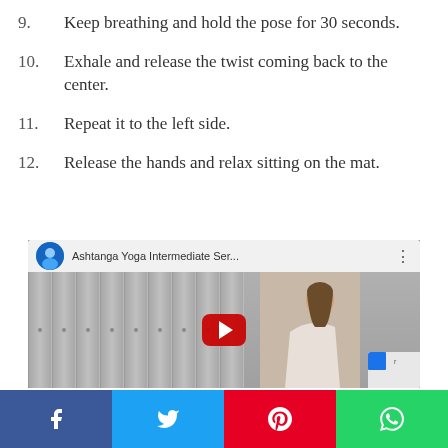9. Keep breathing and hold the pose for 30 seconds.
10. Exhale and release the twist coming back to the center.
11. Repeat it to the left side.
12. Release the hands and relax sitting on the mat.
[Figure (screenshot): Embedded YouTube video player showing 'Ashtanga Yoga Intermediate Ser...' with a thumbnail of a person doing a yoga pose near lockers, and a red play button in the center.]
Social share bar with Facebook, Twitter, Pinterest, and WhatsApp buttons.